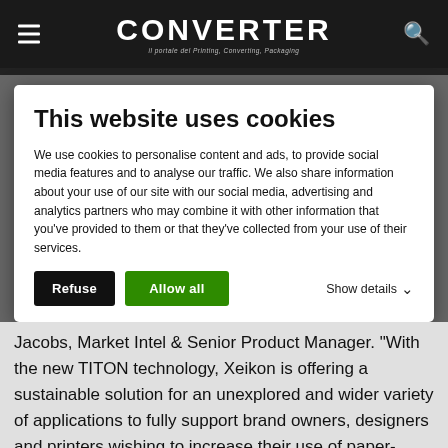CONVERTER
This website uses cookies
We use cookies to personalise content and ads, to provide social media features and to analyse our traffic. We also share information about your use of our site with our social media, advertising and analytics partners who may combine it with other information that you've provided to them or that they've collected from your use of their services.
Jacobs, Market Intel & Senior Product Manager. "With the new TITON technology, Xeikon is offering a sustainable solution for an unexplored and wider variety of applications to fully support brand owners, designers and printers wishing to increase their use of paper-based packaging for food products."